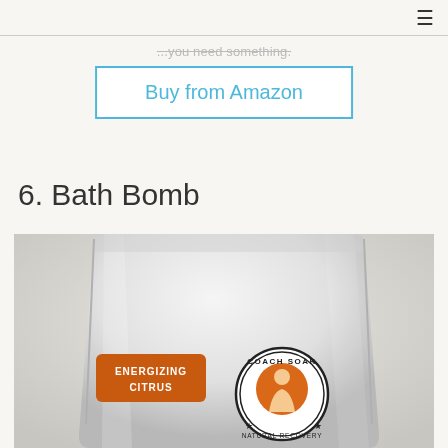≡
...you need something.
Buy from Amazon
6. Bath Bomb
[Figure (photo): Product photo of Coach Soak Natural Recovery bath salts pouch in white packaging with 'Energizing Citrus' orange label and circular Coach Soak logo]